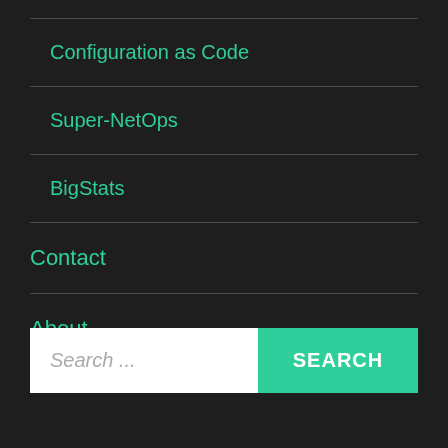Configuration as Code
Super-NetOps
BigStats
Contact
About
Search ...